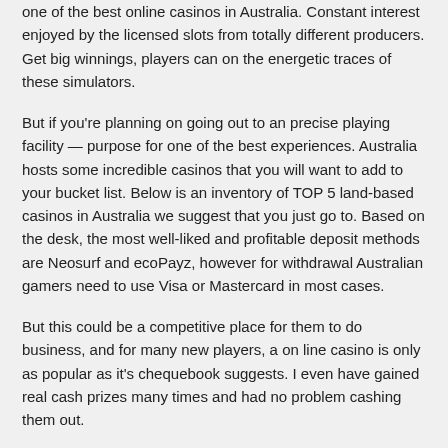one of the best online casinos in Australia. Constant interest enjoyed by the licensed slots from totally different producers. Get big winnings, players can on the energetic traces of these simulators.
But if you're planning on going out to an precise playing facility — purpose for one of the best experiences. Australia hosts some incredible casinos that you will want to add to your bucket list. Below is an inventory of TOP 5 land-based casinos in Australia we suggest that you just go to. Based on the desk, the most well-liked and profitable deposit methods are Neosurf and ecoPayz, however for withdrawal Australian gamers need to use Visa or Mastercard in most cases.
But this could be a competitive place for them to do business, and for many new players, a on line casino is only as popular as it's chequebook suggests. I even have gained real cash prizes many times and had no problem cashing them out.
If you are searching for the most effective on-line casino